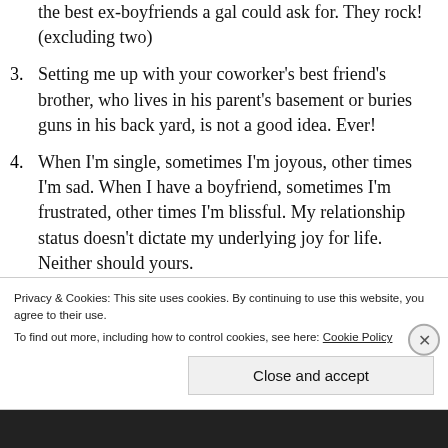the best ex-boyfriends a gal could ask for. They rock! (excluding two)
3. Setting me up with your coworker's best friend's brother, who lives in his parent's basement or buries guns in his back yard, is not a good idea. Ever!
4. When I'm single, sometimes I'm joyous, other times I'm sad. When I have a boyfriend, sometimes I'm frustrated, other times I'm blissful. My relationship status doesn't dictate my underlying joy for life. Neither should yours.
5. I own one cat. He's relatively low-maintenance and cool. I have no need nor desire to add more felines to make up for some perceived lack of
Privacy & Cookies: This site uses cookies. By continuing to use this website, you agree to their use.
To find out more, including how to control cookies, see here: Cookie Policy